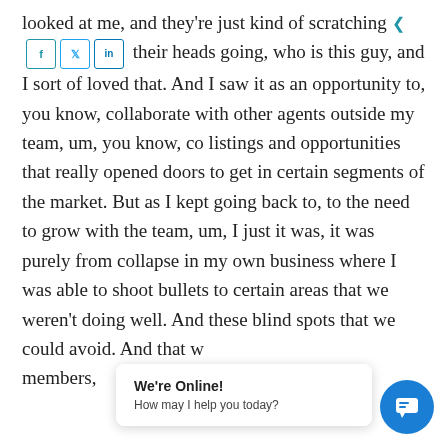looked at me, and they're just kind of scratching their heads going, who is this guy, and I sort of loved that. And I saw it as an opportunity to, you know, collaborate with other agents outside my team, um, you know, co listings and opportunities that really opened doors to get in certain segments of the market. But as I kept going back to, to the need to grow with the team, um, I just it was, it was purely from collapse in my own business where I was able to shoot bullets to certain areas that we weren't doing well. And these blind spots that we could avoid. And that w members,